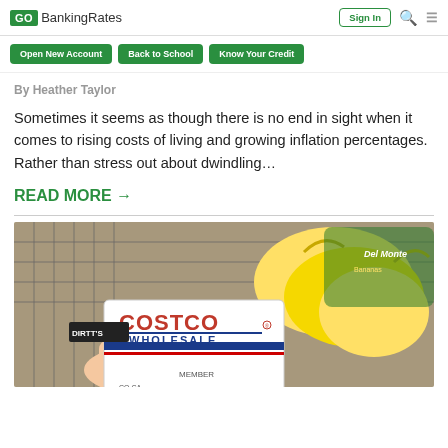GOBankingRates — Sign In
Open New Account
Back to School
Know Your Credit
By Heather Taylor
Sometimes it seems as though there is no end in sight when it comes to rising costs of living and growing inflation percentages. Rather than stress out about dwindling…
READ MORE →
[Figure (photo): A hand holding a Costco Wholesale Gold Star membership card in front of a shopping cart with groceries including bananas in a Del Monte bag]